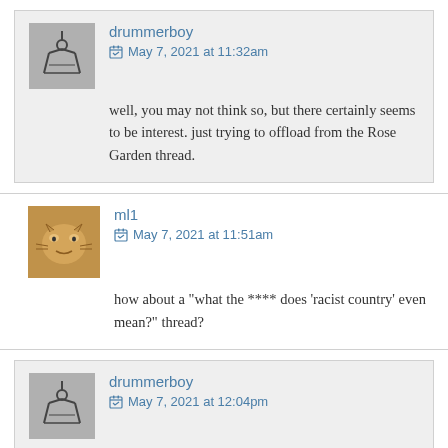drummerboy
May 7, 2021 at 11:32am
well, you may not think so, but there certainly seems to be interest. just trying to offload from the Rose Garden thread.
ml1
May 7, 2021 at 11:51am
how about a "what the **** does 'racist country' even mean?" thread?
drummerboy
May 7, 2021 at 12:04pm
well, that can certainly be discussed here